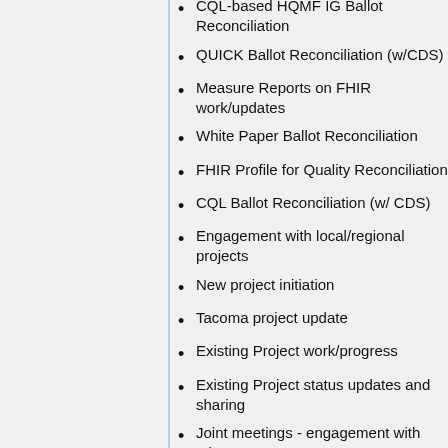CQL-based HQMF IG Ballot Reconciliation
QUICK Ballot Reconciliation (w/CDS)
Measure Reports on FHIR work/updates
White Paper Ballot Reconciliation
FHIR Profile for Quality Reconciliation
CQL Ballot Reconciliation (w/ CDS)
Engagement with local/regional projects
New project initiation
Tacoma project update
Existing Project work/progress
Existing Project status updates and sharing
Joint meetings - engagement with other WGs